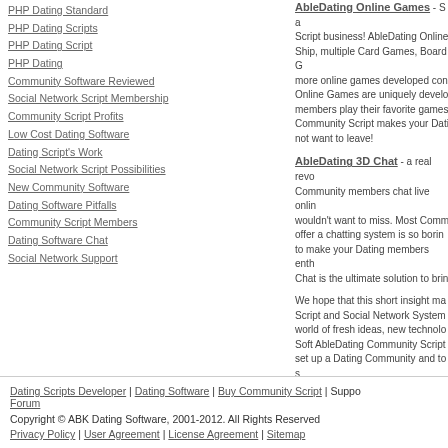PHP Dating Standard
PHP Dating Scripts
PHP Dating Script
PHP Dating
Community Software Reviewed
Social Network Script Membership
Community Script Profits
Low Cost Dating Software
Dating Script's Work
Social Network Script Possibilities
New Community Software
Dating Software Pitfalls
Community Script Members
Dating Software Chat
Social Network Support
AbleDating Online Games - Script business! AbleDating Online Ship, multiple Card Games, Board more online games developed con Online Games are uniquely develo members play their favorite games Community Script makes your Dati not want to leave!
AbleDating 3D Chat - a real revo Community members chat live onli wouldn't want to miss. Most Comm offer a chatting system is so borin to make your Dating members enth Chat is the ultimate solution to brin
We hope that this short insight ma Script and Social Network System world of fresh ideas, new technolo Soft AbleDating Community Script set up a Dating Community and to
Dating Scripts Developer | Dating Software | Buy Community Script | Support Forum
Copyright © ABK Dating Software, 2001-2012. All Rights Reserved
Privacy Policy | User Agreement | License Agreement | Sitemap